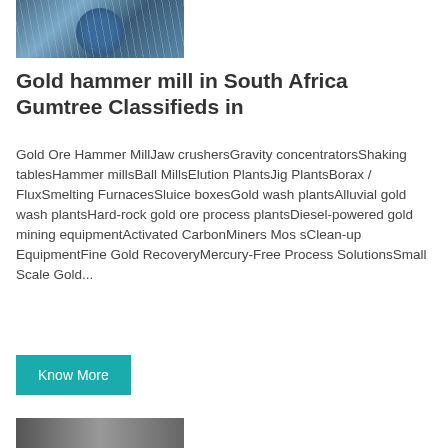[Figure (photo): Industrial machinery photo — blue cylindrical mill/grinding machine with scaffolding and metal framework]
Gold hammer mill in South Africa Gumtree Classifieds in
Gold Ore Hammer MillJaw crushersGravity concentratorsShaking tablesHammer millsBall MillsElution PlantsJig PlantsBorax / FluxSmelting FurnacesSluice boxesGold wash plantsAlluvial gold wash plantsHard-rock gold ore process plantsDiesel-powered gold mining equipmentActivated CarbonMiners Mos sClean-up EquipmentFine Gold RecoveryMercury-Free Process SolutionsSmall Scale Gold...
Know More
[Figure (photo): Partially visible industrial/mining equipment photo at bottom of page]